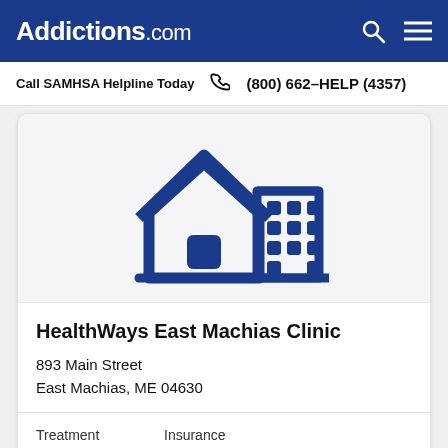Addictions.com
Call SAMHSA Helpline Today  (800) 662-HELP (4357)
[Figure (illustration): Blue icon of a house and building on a light gray background, representing a treatment facility.]
HealthWays East Machias Clinic
893 Main Street
East Machias, ME 04630
Treatment
Outpatient
Insurance
Medicaid  Private